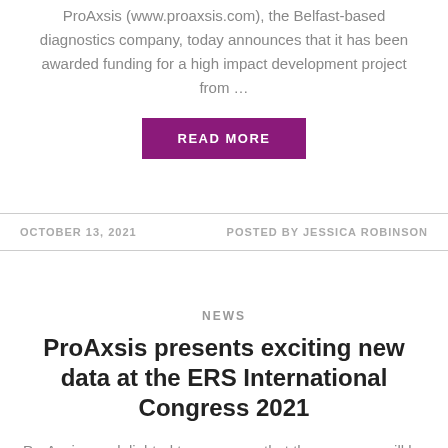ProAxsis (www.proaxsis.com), the Belfast-based diagnostics company, today announces that it has been awarded funding for a high impact development project from …
[Figure (other): Purple 'READ MORE' button]
OCTOBER 13, 2021    POSTED BY JESSICA ROBINSON
NEWS
ProAxsis presents exciting new data at the ERS International Congress 2021
ProAxsis are delighted to announce that the company will be presenting results from several recent projects at the European